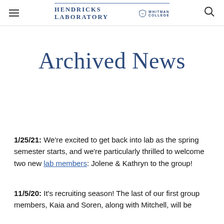Hendricks Laboratory | Whitman College
Archived News
1/25/21: We're excited to get back into lab as the spring semester starts, and we're particularly thrilled to welcome two new lab members: Jolene & Kathryn to the group!
11/5/20: It's recruiting season! The last of our first group members, Kaia and Soren, along with Mitchell, will be